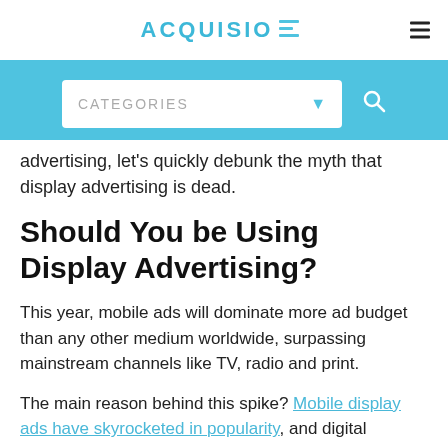ACQUISIO — CATEGORIES
advertising, let's quickly debunk the myth that display advertising is dead.
Should You be Using Display Advertising?
This year, mobile ads will dominate more ad budget than any other medium worldwide, surpassing mainstream channels like TV, radio and print.
The main reason behind this spike? Mobile display ads have skyrocketed in popularity, and digital marketers are readjusting their ad spend to keep up with the market shift.
A recent study by eMarketer found mobile ads and display ads are among the most popular forms of...